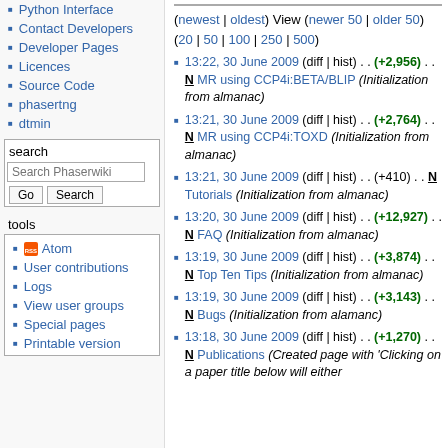Python Interface
Contact Developers
Developer Pages
Licences
Source Code
phasertng
dtmin
search
search box with Go and Search buttons
tools
Atom
User contributions
Logs
View user groups
Special pages
Printable version
(newest | oldest) View (newer 50 | older 50) (20 | 50 | 100 | 250 | 500)
13:22, 30 June 2009 (diff | hist) . . (+2,956) . . N MR using CCP4i:BETA/BLIP (Initialization from almanac)
13:21, 30 June 2009 (diff | hist) . . (+2,764) . . N MR using CCP4i:TOXD (Initialization from almanac)
13:21, 30 June 2009 (diff | hist) . . (+410) . . N Tutorials (Initialization from almanac)
13:20, 30 June 2009 (diff | hist) . . (+12,927) . . N FAQ (Initialization from almanac)
13:19, 30 June 2009 (diff | hist) . . (+3,874) . . N Top Ten Tips (Initialization from almanac)
13:19, 30 June 2009 (diff | hist) . . (+3,143) . . N Bugs (Initialization from alamanc)
13:18, 30 June 2009 (diff | hist) . . (+1,270) . . N Publications (Created page with 'Clicking on a paper title below will either